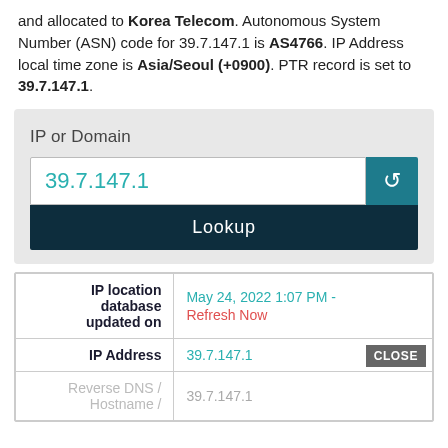and allocated to Korea Telecom. Autonomous System Number (ASN) code for 39.7.147.1 is AS4766. IP Address local time zone is Asia/Seoul (+0900). PTR record is set to 39.7.147.1.
[Figure (screenshot): IP lookup widget with input field showing 39.7.147.1, a teal refresh button, and a dark navy Lookup button]
| Field | Value |
| --- | --- |
| IP location database updated on | May 24, 2022 1:07 PM - Refresh Now |
| IP Address | 39.7.147.1 |
| Reverse DNS / Hostname / | 39.7.147.1 |